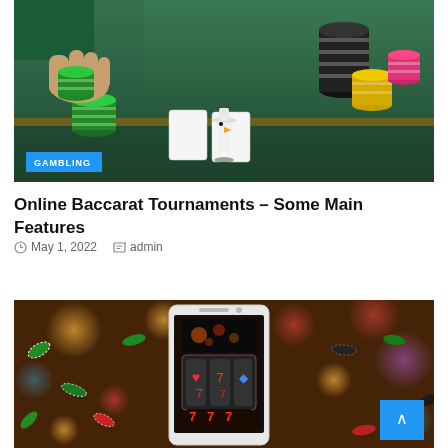[Figure (photo): Casino table with green felt, poker chips in green/black/yellow/pink stacks, a small figurine of a character in white hat standing on playing cards, and a hand reaching for chips. Blue 'GAMBLING' label in lower left corner.]
Online Baccarat Tournaments – Some Main Features
May 1, 2022   admin
[Figure (photo): Mobile phone displaying a slot machine screen with 777 and heart/diamond symbols, surrounded by scattered colorful casino chips (green, red, black, white) on a dark wooden background with bokeh lights. Blue scroll-to-top button in bottom right.]